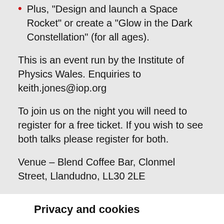Plus, "Design and launch a Space Rocket" or create a "Glow in the Dark Constellation" (for all ages).
This is an event run by the Institute of Physics Wales. Enquiries to keith.jones@iop.org
To join us on the night you will need to register for a free ticket. If you wish to see both talks please register for both.
Venue – Blend Coffee Bar, Clonmel Street, Llandudno, LL30 2LE
Privacy and cookies
We use cookies to personalise content and ads, to provide social media features and to analyse our traffic. We also share information about your use of our site with our social media, advertising and analytics partners. Privacy and cookies policy